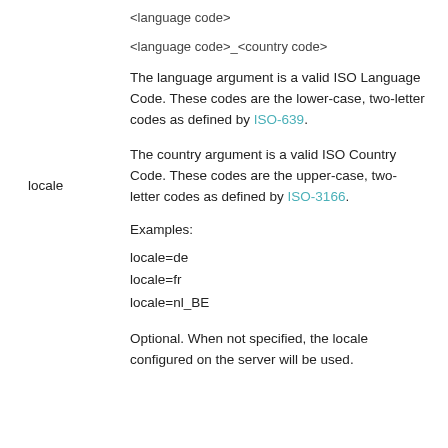<language code>
<language code>_<country code>
The language argument is a valid ISO Language Code. These codes are the lower-case, two-letter codes as defined by ISO-639.
locale
The country argument is a valid ISO Country Code. These codes are the upper-case, two-letter codes as defined by ISO-3166.
Examples:
locale=de
locale=fr
locale=nl_BE
Optional. When not specified, the locale configured on the server will be used.